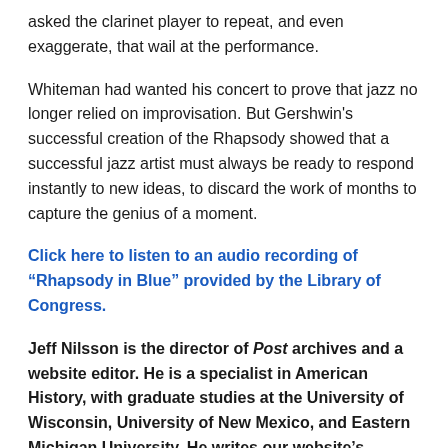asked the clarinet player to repeat, and even exaggerate, that wail at the performance.
Whiteman had wanted his concert to prove that jazz no longer relied on improvisation. But Gershwin's successful creation of the Rhapsody showed that a successful jazz artist must always be ready to respond instantly to new ideas, to discard the work of months to capture the genius of a moment.
Click here to listen to an audio recording of “Rhapsody in Blue” provided by the Library of Congress.
Jeff Nilsson is the director of Post archives and a website editor. He is a specialist in American History, with graduate studies at the University of Wisconsin, University of New Mexico, and Eastern Michigan University. He writes our website’s weekly Retrospective